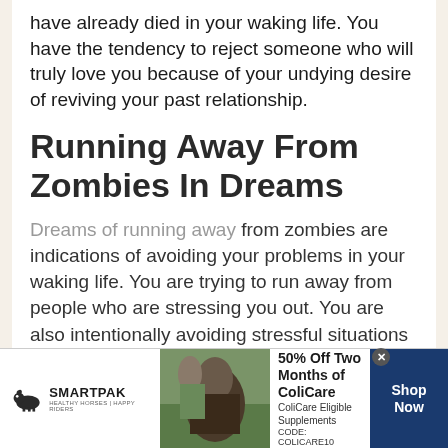have already died in your waking life. You have the tendency to reject someone who will truly love you because of your undying desire of reviving your past relationship.
Running Away From Zombies In Dreams
Dreams of running away from zombies are indications of avoiding your problems in your waking life. You are trying to run away from people who are stressing you out. You are also intentionally avoiding stressful situations making your problems hard to endure.
[Figure (other): SmartPak advertisement banner with horse and rider image, offering 50% Off Two Months of ColiCare with code COLICARE10]